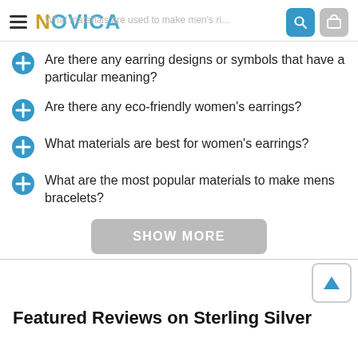NOVICA
Are there any earring designs or symbols that have a particular meaning?
Are there any eco-friendly women's earrings?
What materials are best for women's earrings?
What are the most popular materials to make mens bracelets?
SHOW MORE
Featured Reviews on Sterling Silver